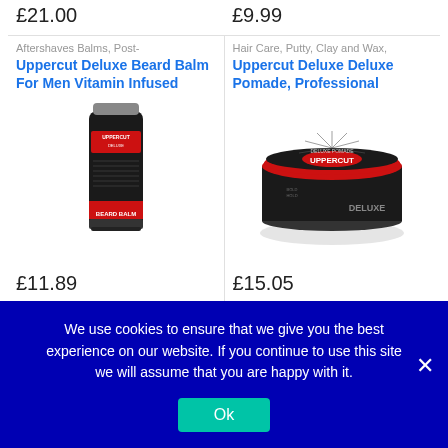£21.00
£9.99
Aftershaves Balms, Post-
Uppercut Deluxe Beard Balm For Men Vitamin Infused
[Figure (photo): Uppercut Deluxe Beard Balm tube, black with red label]
£11.89
Hair Care, Putty, Clay and Wax,
Uppercut Deluxe Deluxe Pomade, Professional
[Figure (photo): Uppercut Deluxe Pomade tin, black and red circular container]
£15.05
We use cookies to ensure that we give you the best experience on our website. If you continue to use this site we will assume that you are happy with it.